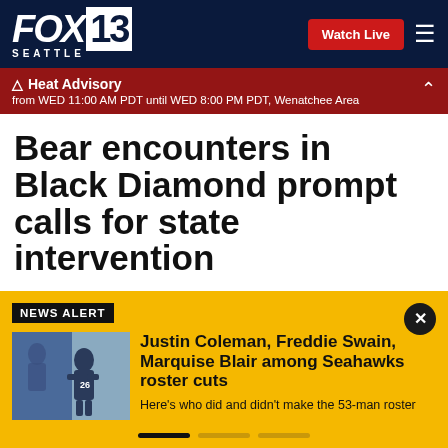FOX 13 SEATTLE
Heat Advisory from WED 11:00 AM PDT until WED 8:00 PM PDT, Wenatchee Area
Bear encounters in Black Diamond prompt calls for state intervention
NEWS ALERT
[Figure (photo): Football player in Seahawks uniform on field during game]
Justin Coleman, Freddie Swain, Marquise Blair among Seahawks roster cuts
Here's who did and didn't make the 53-man roster